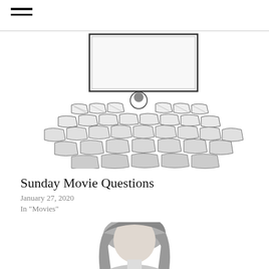[Figure (illustration): Sketch illustration of an empty movie theater with rows of seats and a large screen at the front, one person visible sitting alone in the center]
Sunday Movie Questions
January 27, 2020
In "Movies"
[Figure (photo): Partial photo of a person with dark hair, face not visible, cropped at bottom of page]